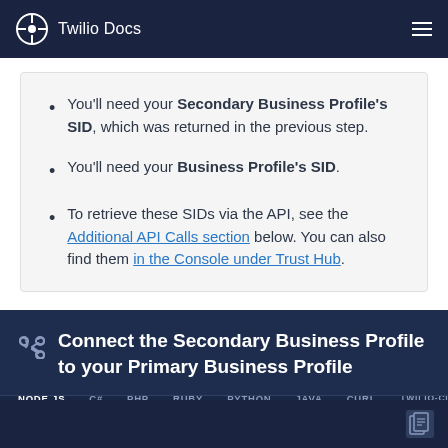Twilio Docs
You'll need your Secondary Business Profile's SID, which was returned in the previous step.
You'll need your Business Profile's SID.
To retrieve these SIDs via the API, see the Additional API Calls section below. You can also find them in the Console under Trust Hub.
Connect the Secondary Business Profile to your Primary Business Profile